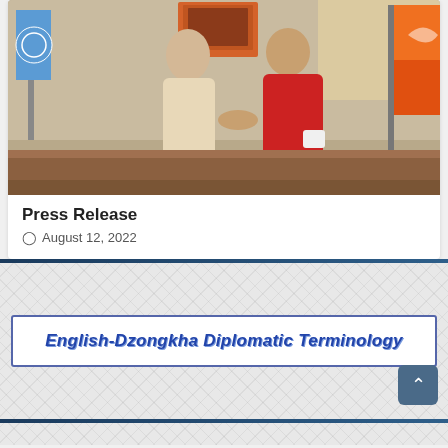[Figure (photo): Two people shaking hands in an office setting with a UN flag on the left and the Bhutan flag (orange) on the right. One person wears a light beige outfit, the other wears traditional Bhutanese red robes (gho). Colorful thangka paintings visible on the wall in the background.]
Press Release
August 12, 2022
English-Dzongkha Diplomatic Terminology